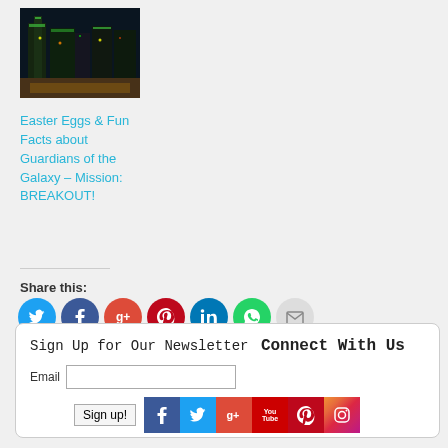[Figure (photo): Thumbnail photo of a theme park attraction lit up at night with green and orange lights against a dark blue sky]
Easter Eggs & Fun Facts about Guardians of the Galaxy – Mission: BREAKOUT!
Share this:
[Figure (infographic): Row of social share buttons: Twitter (blue), Facebook (dark blue), Google+ (red-orange), Pinterest (red), LinkedIn (blue), WhatsApp (green), Email (gray)]
Sign Up for Our Newsletter
Connect With Us
Email
[Figure (infographic): Social media connect icons: Facebook, Twitter, Google+, YouTube, Pinterest, Instagram]